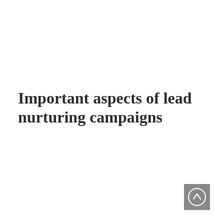Important aspects of lead nurturing campaigns
[Figure (other): Navigation button with upward arrow icon on grey background]